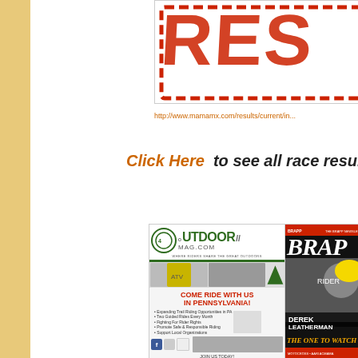[Figure (other): Partial red stamp graphic showing 'RESULTS' text, cropped at top of page]
http://www.mamamx.com/results/current/in...
Click Here  to see all race results from...
[Figure (other): Two advertisement images: OutdoorMag.com ad for Pennsylvania trail riding association, and BRAPP newsletter cover featuring Derek Leatherman 'The One to Watch']